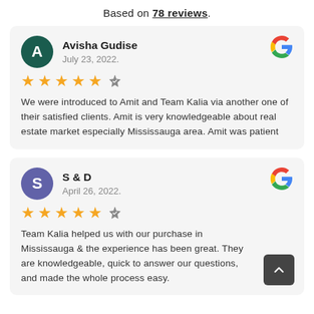Based on 78 reviews.
[Figure (other): Review card for Avisha Gudise, July 23, 2022, 5 stars, Google review. Text: We were introduced to Amit and Team Kalia via another one of their satisfied clients. Amit is very knowledgeable about real estate market especially Mississauga area. Amit was patient]
[Figure (other): Review card for S & D, April 26, 2022, 5 stars, Google review. Text: Team Kalia helped us with our purchase in Mississauga & the experience has been great. They are knowledgeable, quick to answer our questions, and made the whole process easy.]